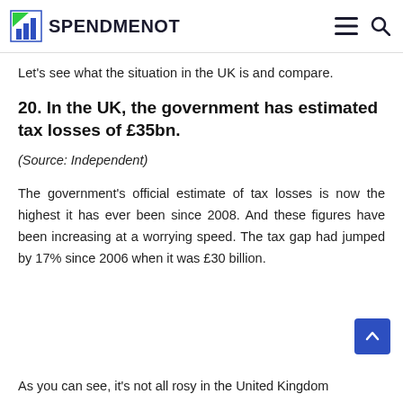SPENDMENOT
Let's see what the situation in the UK is and compare.
20. In the UK, the government has estimated tax losses of £35bn.
(Source: Independent)
The government's official estimate of tax losses is now the highest it has ever been since 2008. And these figures have been increasing at a worrying speed. The tax gap had jumped by 17% since 2006 when it was £30 billion.
As you can see, it's not all rosy in the United Kingdom